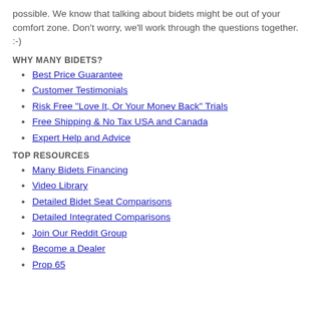possible. We know that talking about bidets might be out of your comfort zone. Don't worry, we'll work through the questions together. :-)
WHY MANY BIDETS?
Best Price Guarantee
Customer Testimonials
Risk Free "Love It, Or Your Money Back" Trials
Free Shipping & No Tax USA and Canada
Expert Help and Advice
TOP RESOURCES
Many Bidets Financing
Video Library
Detailed Bidet Seat Comparisons
Detailed Integrated Comparisons
Join Our Reddit Group
Become a Dealer
Prop 65